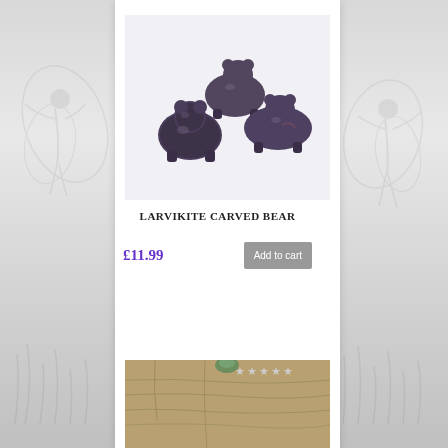[Figure (photo): Three dark grey/purple larvikite carved bear figurines arranged on a white background. The bears are small stone carvings with a dark mottled appearance.]
LARVIKITE CARVED BEAR
£11.99
Add to cart
[Figure (photo): Partial view of another product - appears to show a wooden or stone surface with green crystal/mineral on top, partially cut off at bottom of page. Star rating symbols visible.]